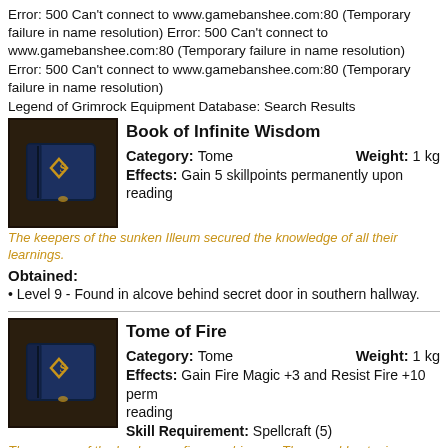Error: 500 Can't connect to www.gamebanshee.com:80 (Temporary failure in name resolution) Error: 500 Can't connect to www.gamebanshee.com:80 (Temporary failure in name resolution) Error: 500 Can't connect to www.gamebanshee.com:80 (Temporary failure in name resolution)
Legend of Grimrock Equipment Database: Search Results
Book of Infinite Wisdom
Category: Tome    Weight: 1 kg
Effects: Gain 5 skillpoints permanently upon reading
The keepers of the sunken Illeum secured the knowledge of all their learnings.
Obtained:
Level 9 - Found in alcove behind secret door in southern hallway.
Tome of Fire
Category: Tome    Weight: 1 kg
Effects: Gain Fire Magic +3 and Resist Fire +10 permanently upon reading
Skill Requirement: Spellcraft (5)
The owners of the book we re fire worshippers. They would not miss...